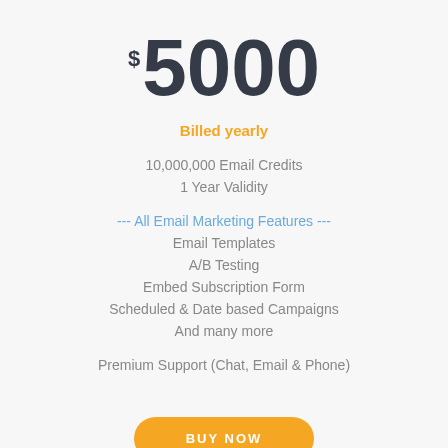$5000
Billed yearly
10,000,000 Email Credits
1 Year Validity
--- All Email Marketing Features ---
Email Templates
A/B Testing
Embed Subscription Form
Scheduled & Date based Campaigns
And many more
Premium Support (Chat, Email & Phone)
BUY NOW